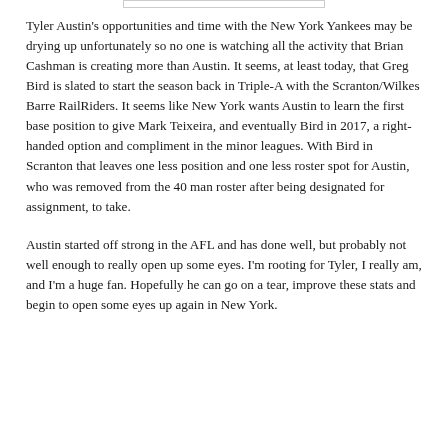Tyler Austin's opportunities and time with the New York Yankees may be drying up unfortunately so no one is watching all the activity that Brian Cashman is creating more than Austin. It seems, at least today, that Greg Bird is slated to start the season back in Triple-A with the Scranton/Wilkes Barre RailRiders. It seems like New York wants Austin to learn the first base position to give Mark Teixeira, and eventually Bird in 2017, a right-handed option and compliment in the minor leagues. With Bird in Scranton that leaves one less position and one less roster spot for Austin, who was removed from the 40 man roster after being designated for assignment, to take.
Austin started off strong in the AFL and has done well, but probably not well enough to really open up some eyes. I'm rooting for Tyler, I really am, and I'm a huge fan. Hopefully he can go on a tear, improve these stats and begin to open some eyes up again in New York.